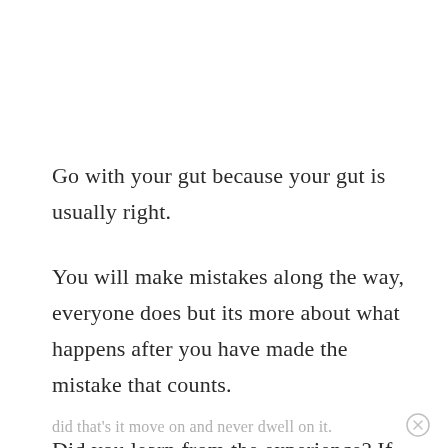Go with your gut because your gut is usually right.
You will make mistakes along the way, everyone does but its more about what happens after you have made the mistake that counts.
Did you learn from the experience? If you
did that's it move on and never dwell on it.